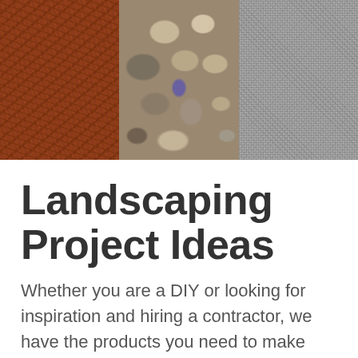[Figure (photo): Three-panel horizontal photo strip showing landscaping materials: red/brown wood mulch on the left, colorful river pebbles and stones in the center, and gray granite gravel texture on the right.]
Landscaping Project Ideas
Whether you are a DIY or looking for inspiration and hiring a contractor, we have the products you need to make